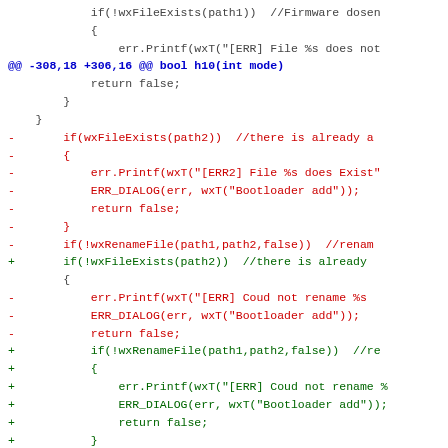[Figure (screenshot): A unified diff / code patch view showing removed lines in red, added lines in green, context lines in dark gray, and a hunk header in blue. The code is C++ using wxWidgets API calls.]